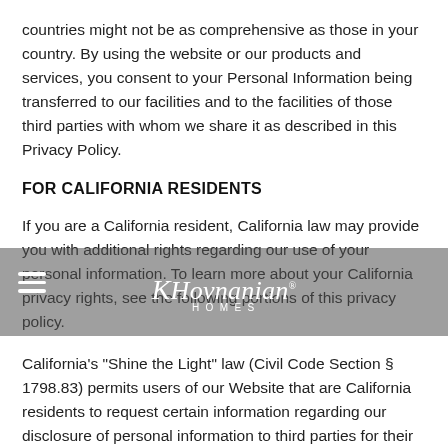countries might not be as comprehensive as those in your country. By using the website or our products and services, you consent to your Personal Information being transferred to our facilities and to the facilities of those third parties with whom we share it as described in this Privacy Policy.
FOR CALIFORNIA RESIDENTS
If you are a California resident, California law may provide you with additional rights regarding our use of your personal information. To learn more about your California privacy rights, see the following portions of this privacy policy.
California's "Shine the Light" law (Civil Code Section § 1798.83) permits users of our Website that are California residents to request certain information regarding our disclosure of personal information to third parties for their direct marketing purposes. To make such a request, please send an email to